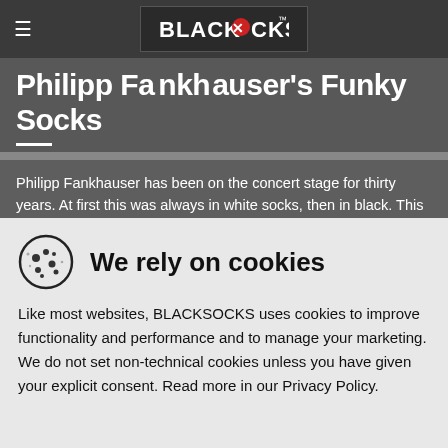BLACKSOCKS
Philipp Fankhauser's Funky Socks
Philipp Fankhauser has been on the concert stage for thirty years. At first this was always in white socks, then in black. This finally changed in 2012 when Philipp opted for colourful, flashy and funky socks.
And so I came into play in 2014: together with BLACKSOCKS, Philipp launched the first models in the 'Funky Socks' collection, where I stand as number thirty
We rely on cookies
Like most websites, BLACKSOCKS uses cookies to improve functionality and performance and to manage your marketing. We do not set non-technical cookies unless you have given your explicit consent. Read more in our Privacy Policy.